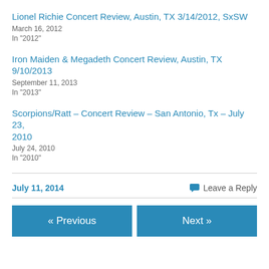Lionel Richie Concert Review, Austin, TX 3/14/2012, SxSW
March 16, 2012
In "2012"
Iron Maiden & Megadeth Concert Review, Austin, TX 9/10/2013
September 11, 2013
In "2013"
Scorpions/Ratt – Concert Review – San Antonio, Tx – July 23, 2010
July 24, 2010
In "2010"
July 11, 2014
Leave a Reply
« Previous
Next »